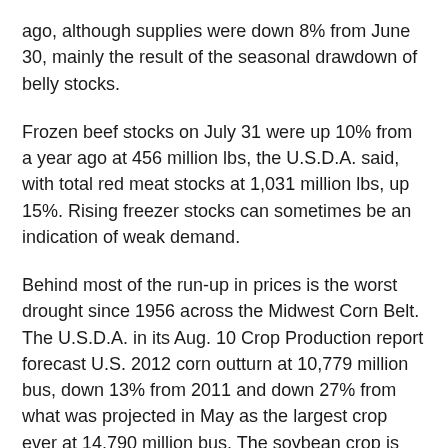ago, although supplies were down 8% from June 30, mainly the result of the seasonal drawdown of belly stocks.
Frozen beef stocks on July 31 were up 10% from a year ago at 456 million lbs, the U.S.D.A. said, with total red meat stocks at 1,031 million lbs, up 15%. Rising freezer stocks can sometimes be an indication of weak demand.
Behind most of the run-up in prices is the worst drought since 1956 across the Midwest Corn Belt. The U.S.D.A. in its Aug. 10 Crop Production report forecast U.S. 2012 corn outturn at 10,779 million bus, down 13% from 2011 and down 27% from what was projected in May as the largest crop ever at 14,790 million bus. The soybean crop is expected to feel slightly less impact from the drought as recent rainfall has been marginally helpful, but production still was forecast at 2,692 million bus, down 12% from 2011. Wheat prices have been pulled sharply higher, mainly by corn, despite production